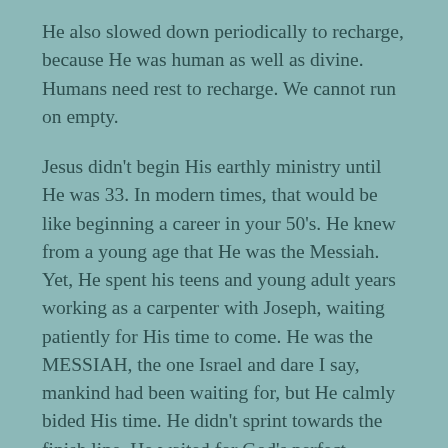He also slowed down periodically to recharge, because He was human as well as divine. Humans need rest to recharge. We cannot run on empty.
Jesus didn't begin His earthly ministry until He was 33. In modern times, that would be like beginning a career in your 50's. He knew from a young age that He was the Messiah. Yet, He spent his teens and young adult years working as a carpenter with Joseph, waiting patiently for His time to come. He was the MESSIAH, the one Israel and dare I say, mankind had been waiting for, but He calmly bided His time. He didn't sprint towards the finish line, He waited for God's perfect timing. This is illustrated perfectly in a story told to us by John in John chapter 7,
“After this Jesus went about in Galilee. He would not go about in Judea, because the J...